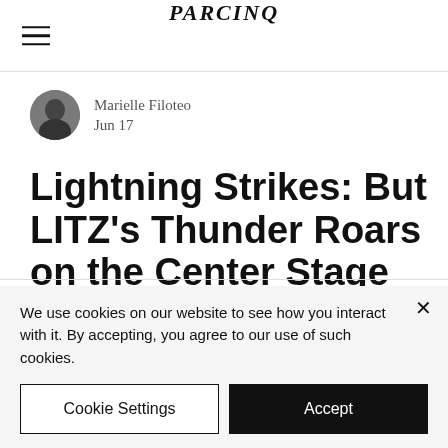PARCINQ
Marielle Filoteo
Jun 17
Lightning Strikes: But LITZ's Thunder Roars on the Center Stage
We use cookies on our website to see how you interact with it. By accepting, you agree to our use of such cookies.